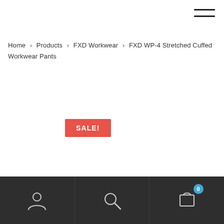hamburger menu icon
Home > Products > FXD Workwear > FXD WP-4 Stretched Cuffed Workwear Pants
[Figure (other): SALE! badge in red]
Bottom navigation bar with account, search, and cart (0) icons